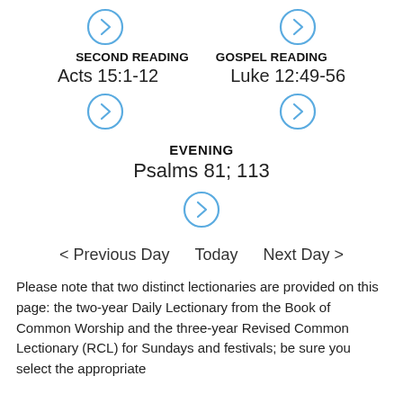[Figure (other): Two circular arrow/chevron buttons at the top, one for SECOND READING and one for GOSPEL READING]
SECOND READING  GOSPEL READING
Acts 15:1-12      Luke 12:49-56
[Figure (other): Two circular arrow/chevron buttons, one below Acts 15:1-12 and one below Luke 12:49-56]
EVENING
Psalms 81; 113
[Figure (other): Single circular arrow/chevron button below Psalms 81; 113]
< Previous Day   Today   Next Day >
Please note that two distinct lectionaries are provided on this page: the two-year Daily Lectionary from the Book of Common Worship and the three-year Revised Common Lectionary (RCL) for Sundays and festivals; be sure you select the appropriate